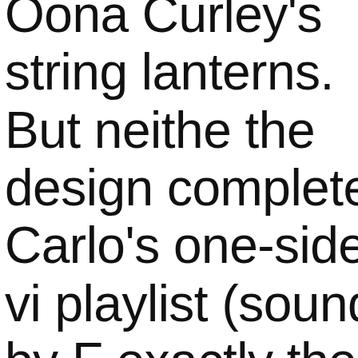Oona Curley's string lanterns. But neither the design complete Carlo's one-sided vi playlist (sound by F exactly the kind you dance to, and the fla costumes (by Oana kind you want peop